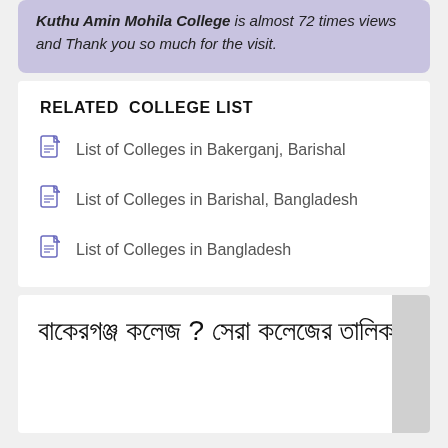Kuthu Amin Mohila College is almost 72 times views and Thank you so much for the visit.
RELATED COLLEGE LIST
List of Colleges in Bakerganj, Barishal
List of Colleges in Barishal, Bangladesh
List of Colleges in Bangladesh
বাকেরগঞ্জ কলেজ ? সেরা কলেজের তালিকা